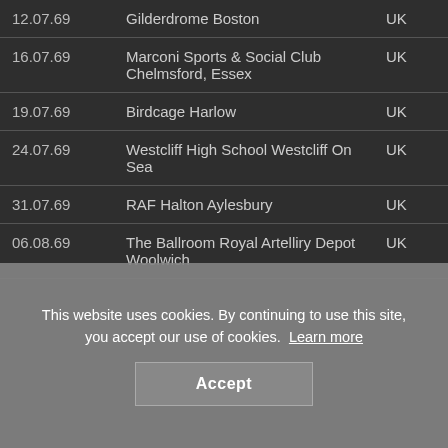| Date | Venue | Country |
| --- | --- | --- |
| 12.07.69 | Gilderdrome Boston | UK |
| 16.07.69 | Marconi Sports & Social Club Chelmsford, Essex | UK |
| 19.07.69 | Birdcage Harlow | UK |
| 24.07.69 | Westcliff High School Westcliff On Sea | UK |
| 31.07.69 | RAF Halton Aylesbury | UK |
| 06.08.69 | The Ballroom Royal Artelliry Depot Woolwich | UK |
This website uses cookies. By continuing to use this site, you accept our use of cookies. Learn more